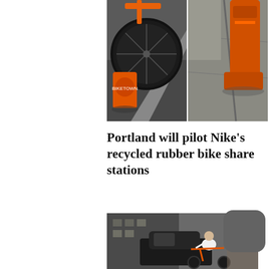[Figure (photo): Two side-by-side photos of bike share station equipment: left shows an orange bike wheel and docking station base on asphalt; right shows an orange station base/bollard on a concrete sidewalk]
Portland will pilot Nike's recycled rubber bike share stations
[Figure (photo): Photo of a man in a white shirt riding an orange bike in an urban street setting with cars in the background]
[Figure (other): Dark mode toggle button (crescent moon icon on dark gray rounded square)]